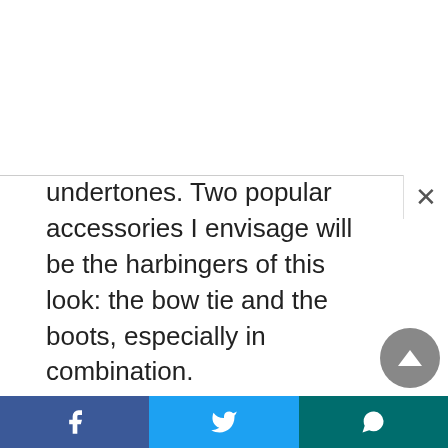undertones. Two popular accessories I envisage will be the harbingers of this look: the bow tie and the boots, especially in combination.
Yes, I couldn't have chosen two more contrasted possibilities. The bow tie possibly went out of style decades ago, perhaps last seen at some public school graduation ball in the English countryside, or now to be spotted fledgling on stage somewhere in Vegas. Sure it makes a regal 'red carpet' appearance now and then – Grammys',
Share buttons: Facebook, Twitter, WhatsApp